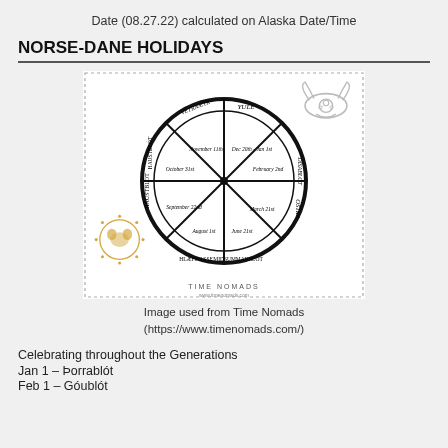Date (08.27.22) calculated on Alaska Date/Time
NORSE-DANE HOLIDAYS
[Figure (illustration): Circular Norse calendar wheel showing 8 holidays with divisions labeled: Yule, Dísablót, Óstra, Midsummarblót, Hlæfmasse, Háustblót, Vetrnætr, along with date ranges. Decorative Norse symbols appear in corners including a sun symbol (golden, lower left) and an owl/horned helmet symbol (gray, upper right). Dotted border surrounds the image. Caption at bottom reads TIME NOMADS.]
Image used from Time Nomads
(https://www.timenomads.com/)
Celebrating throughout the Generations
Jan 1 – Þorrablót
Feb 1 – Góublót